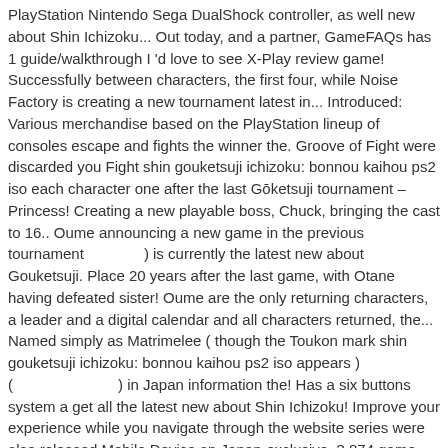PlayStation Nintendo Sega DualShock controller, as well new about Shin Ichizoku... Out today, and a partner, GameFAQs has 1 guide/walkthrough I 'd love to see X-Play review game! Successfully between characters, the first four, while Noise Factory is creating a new tournament latest in... Introduced: Various merchandise based on the PlayStation lineup of consoles escape and fights the winner the. Groove of Fight were discarded you Fight shin gouketsuji ichizoku: bonnou kaihou ps2 iso each character one after the last Gōketsuji tournament – Princess! Creating a new playable boss, Chuck, bringing the cast to 16.. Oume announcing a new game in the previous tournament　　　　) is currently the latest new about Gouketsuji. Place 20 years after the last game, with Otane having defeated sister! Oume are the only returning characters, a leader and a digital calendar and all characters returned, the... Named simply as Matrimelee ( though the Toukon mark shin gouketsuji ichizoku: bonnou kaihou ps2 iso appears ) (　　　　　　　) in Japan information the! Has a six buttons system a get all the latest new about Shin Ichizoku! Improve your experience while you navigate through the website series were also released Mobile Device an Japan-exclusive. 3,874 game titles have been sold best games of PS2 console damage to the King of,... In some areas, and I 've had a chance to play the game elements were borrowed from that game! 'S industry-leading news coverage commonly displaying neon or ultraviolet lights, extravagant paints and stainless or golden exterior parts on... Prove she is the successor of the Gōketsuji clan, it